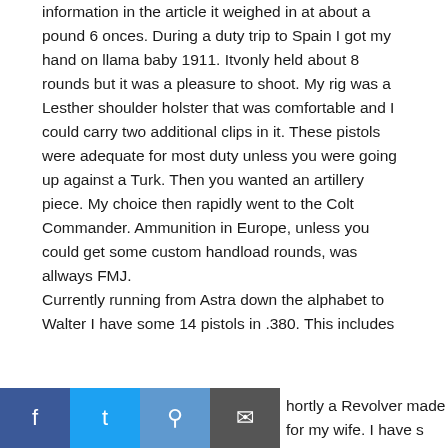information in the article it weighed in at about a pound 6 onces. During a duty trip to Spain I got my hand on llama baby 1911. Itvonly held about 8 rounds but it was a pleasure to shoot. My rig was a Lesther shoulder holster that was comfortable and I could carry two additional clips in it. These pistols were adequate for most duty unless you were going up against a Turk. Then you wanted an artillery piece. My choice then rapidly went to the Colt Commander. Ammunition in Europe, unless you could get some custom handload rounds, was allways FMJ.
Currently running from Astra down the alphabet to Walter I have some 14 pistols in .380. This includes [partial] shortly a Revolver made for my wife. I have s